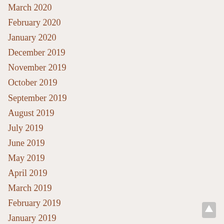March 2020
February 2020
January 2020
December 2019
November 2019
October 2019
September 2019
August 2019
July 2019
June 2019
May 2019
April 2019
March 2019
February 2019
January 2019
December 2018
November 2018
October 2018
September 2018